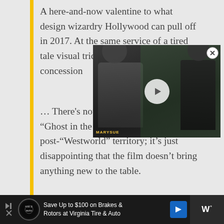A here-and-now valentine to what design wizardry Hollywood can pull off in 2017. At the same service of a tired tale visual tricks, storytel big-studio concession
[Figure (screenshot): Video player overlay showing a woman in period costume with a dark hat. A play button is centered on the video. A MARYSUE watermark appears at the bottom left. A close (X) button is at the top right.]
… There's nothing wrong with introducing “Ghost in the Shell” into post-“Matrix,” post-“Westworld” territory; it’s just disappointing that the film doesn’t bring anything new to the table.
Save Up to $100 on Brakes & Rotors at Virginia Tire & Auto